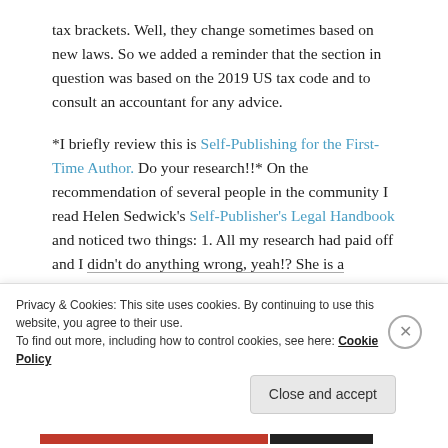tax brackets. Well, they change sometimes based on new laws. So we added a reminder that the section in question was based on the 2019 US tax code and to consult an accountant for any advice.
*I briefly review this is Self-Publishing for the First-Time Author. Do your research!!* On the recommendation of several people in the community I read Helen Sedwick's Self-Publisher's Legal Handbook and noticed two things: 1. All my research had paid off and I didn't do anything wrong, yeah!? She is a...
Privacy & Cookies: This site uses cookies. By continuing to use this website, you agree to their use.
To find out more, including how to control cookies, see here: Cookie Policy
Close and accept